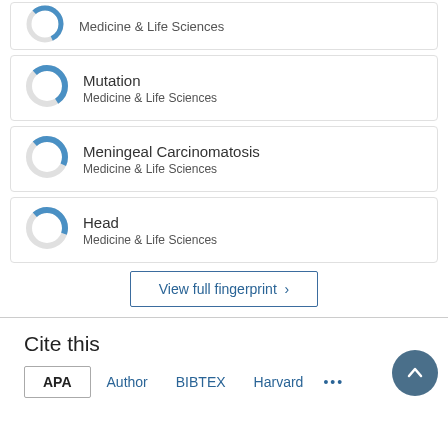Medicine & Life Sciences (partial item at top)
Mutation — Medicine & Life Sciences
Meningeal Carcinomatosis — Medicine & Life Sciences
Head — Medicine & Life Sciences
View full fingerprint >
Cite this
APA  Author  BIBTEX  Harvard  ...